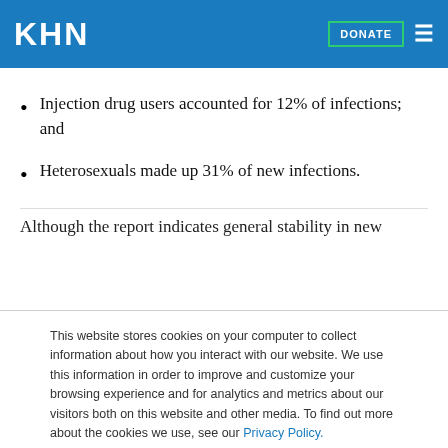KHN | DONATE
Injection drug users accounted for 12% of infections; and
Heterosexuals made up 31% of new infections.
Although the report indicates general stability in new
This website stores cookies on your computer to collect information about how you interact with our website. We use this information in order to improve and customize your browsing experience and for analytics and metrics about our visitors both on this website and other media. To find out more about the cookies we use, see our Privacy Policy.